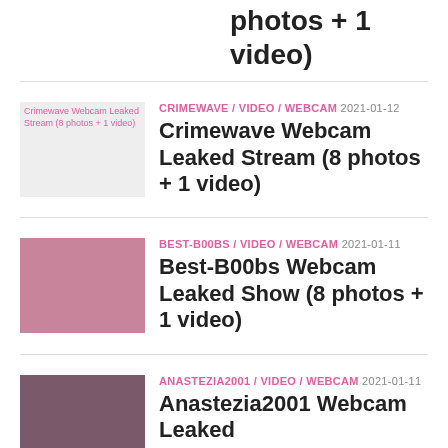photos + 1 video)
CRIMEWAVE / VIDEO / WEBCAM 2021-01-12 Crimewave Webcam Leaked Stream (8 photos + 1 video)
BEST-B00BS / VIDEO / WEBCAM 2021-01-11 Best-B00bs Webcam Leaked Show (8 photos + 1 video)
ANASTEZIA2001 / VIDEO / WEBCAM 2021-01-11 Anastezia2001 Webcam Leaked